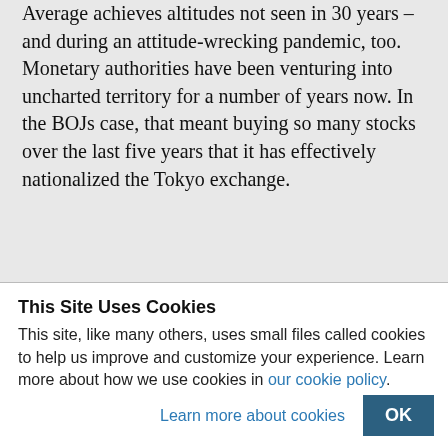Average achieves altitudes not seen in 30 years – and during an attitude-wrecking pandemic, too. Monetary authorities have been venturing into uncharted territory for a number of years now. In the BOJs case, that meant buying so many stocks over the last five years that it has effectively nationalized the Tokyo exchange.
This Site Uses Cookies
This site, like many others, uses small files called cookies to help us improve and customize your experience. Learn more about how we use cookies in our cookie policy.
Learn more about cookies
OK